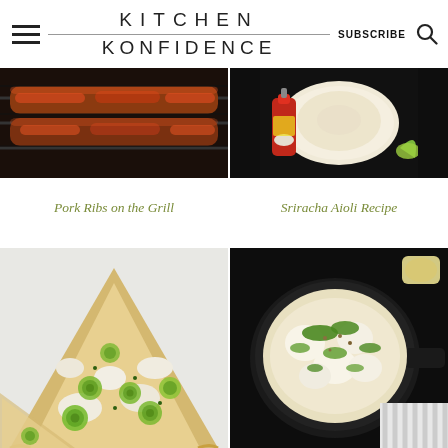KITCHEN KONFIDENCE
SUBSCRIBE
[Figure (photo): Grilled pork ribs on a grill with red glaze]
[Figure (photo): Sriracha aioli in a bowl with bottle and lime]
Pork Ribs on the Grill
Sriracha Aioli Recipe
[Figure (photo): Flatbread pizza with zucchini, ricotta, and herbs]
[Figure (photo): Skillet dish with cauliflower, cheese, and herbs]